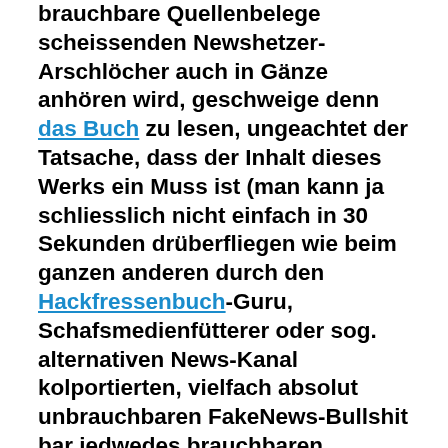brauchbare Quellenbelege scheissenden Newshetzer-Arschlöcher auch in Gänze anhören wird, geschweige denn das Buch zu lesen, ungeachtet der Tatsache, dass der Inhalt dieses Werks ein Muss ist (man kann ja schliesslich nicht einfach in 30 Sekunden drüberfliegen wie beim ganzen anderen durch den Hackfressenbuch-Guru, Schafsmedienfütterer oder sog. alternativen News-Kanal kolportierten, vielfach absolut unbrauchbaren FakeNews-Bullshit bar jedwedes brauchbaren Quellbelegs, um alles ne Minute später wieder vergessen zu haben, sondern setzt solch ein Werk – im Gegensatz zum Millionsten nutzlosen und unbrauchbaren Pamphlet zum pöösen Gatesbilly – aktiven Willen zum ernsthaften Studium voraus; wobei dafür sowieso die meisten schon viel zu verblödet und